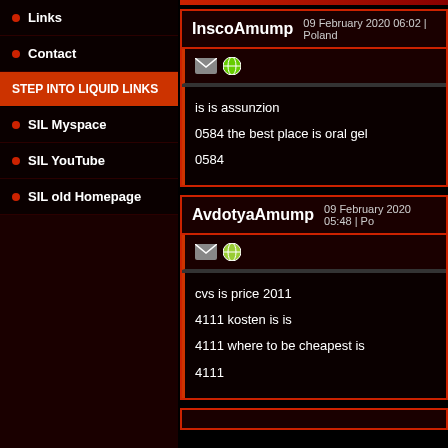Links
Contact
STEP INTO LIQUID LINKS
SIL Myspace
SIL YouTube
SIL old Homepage
InscoAmump   09 February 2020 06:02 | Poland
is is assunzion
0584 the best place is oral gel
0584
AvdotyaAmump   09 February 2020 05:48 | Po...
cvs is price 2011
4111 kosten is is
4111 where to be cheapest is
4111